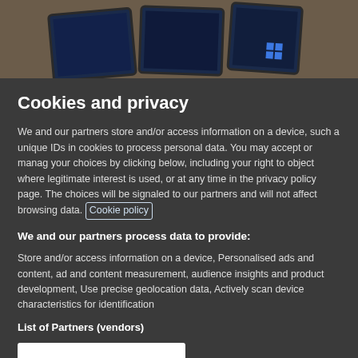[Figure (photo): Photograph of tablets/laptops on a wooden surface, partially visible at the top of the page]
Cookies and privacy
We and our partners store and/or access information on a device, such as unique IDs in cookies to process personal data. You may accept or manage your choices by clicking below, including your right to object where legitimate interest is used, or at any time in the privacy policy page. These choices will be signaled to our partners and will not affect browsing data. Cookie policy
We and our partners process data to provide:
Store and/or access information on a device, Personalised ads and content, ad and content measurement, audience insights and product development, Use precise geolocation data, Actively scan device characteristics for identification
List of Partners (vendors)